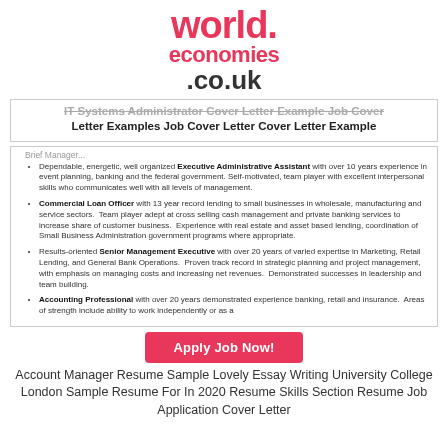[Figure (logo): world economies .co.uk logo in pink/red and dark text]
IT Systems Administrator Cover Letter Example Job Cover Letter Examples Job Cover Letter Cover Letter Example
Brief Manager...
Dependable, energetic, well organized Executive Administrative Assistant with over 10 years experience in event planning, banking and the federal government. Self-motivated, team player with excellent interpersonal skills who communicates well with all levels of management.
Commercial Loan Officer with 13 year record lending to small businesses in wholesale, manufacturing and service sectors. Team player adept at cross selling cash management and private banking services to increase share of customer business. Experience with real estate and asset based lending, coordination of Small Business Administration government programs where appropriate.
Results-oriented Senior Management Executive with over 20 years of varied expertise in Marketing, Retail Lending, and General Bank Operations. Proven track record in strategic planning and project management, with emphasis on managing costs and increasing net revenues. Demonstrated successes in leadership and team building.
Accounting Professional with over 20 years demonstrated experience banking, retail and insurance. Areas of strength include ability to work independently or as a
Apply Job Now!
Account Manager Resume Sample Lovely Essay Writing University College London Sample Resume For In 2020 Resume Skills Section Resume Job Application Cover Letter